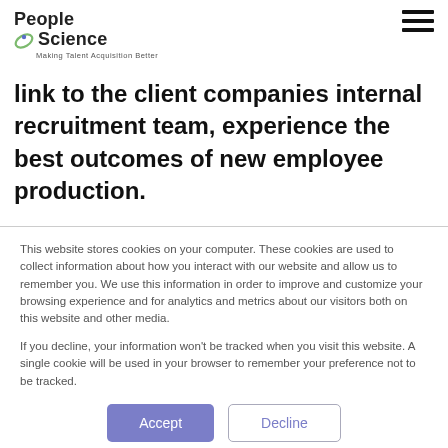People Science — Making Talent Acquisition Better
link to the client companies internal recruitment team, experience the best outcomes of new employee production.
This website stores cookies on your computer. These cookies are used to collect information about how you interact with our website and allow us to remember you. We use this information in order to improve and customize your browsing experience and for analytics and metrics about our visitors both on this website and other media.

If you decline, your information won't be tracked when you visit this website. A single cookie will be used in your browser to remember your preference not to be tracked.
Accept | Decline